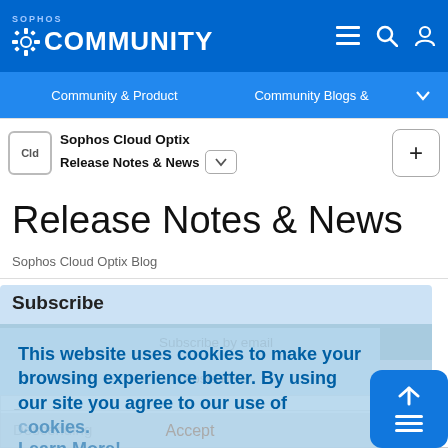SOPHOS COMMUNITY
Community & Product | Community Blogs &
Sophos Cloud Optix Release Notes & News
Release Notes & News
Sophos Cloud Optix Blog
Subscribe
Subscribe by email
Posts RSS
This website uses cookies to make your browsing experience better. By using our site you agree to our use of cookies. Learn More!
Accept
By date
Descending